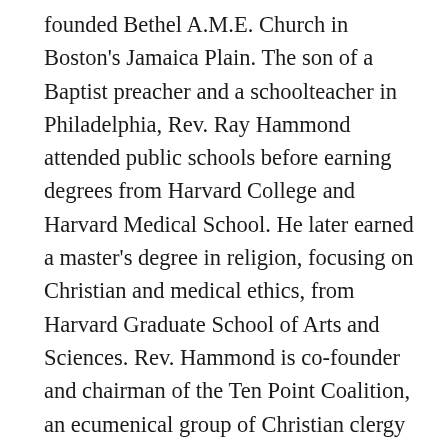founded Bethel A.M.E. Church in Boston's Jamaica Plain. The son of a Baptist preacher and a schoolteacher in Philadelphia, Rev. Ray Hammond attended public schools before earning degrees from Harvard College and Harvard Medical School. He later earned a master's degree in religion, focusing on Christian and medical ethics, from Harvard Graduate School of Arts and Sciences. Rev. Hammond is co-founder and chairman of the Ten Point Coalition, an ecumenical group of Christian clergy and lay leaders mobilizing the Greater Boston community around issues affecting black and Latino youth. Rev. Gloria White-Hammond is a retired pediatrician from the South End Community Health Center. She is a graduate of Boston University (BA); Tufts University School of Medicine (MD); and Harvard Divinity School